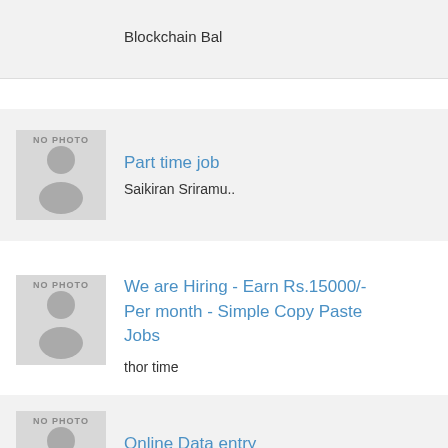Blockchain Bal
[Figure (illustration): No photo placeholder with person silhouette icon]
Part time job
Saikiran Sriramu..
[Figure (illustration): No photo placeholder with person silhouette icon]
We are Hiring - Earn Rs.15000/- Per month - Simple Copy Paste Jobs
thor time
[Figure (illustration): No photo placeholder with person silhouette icon]
Online Data entry
saqib mushtaq